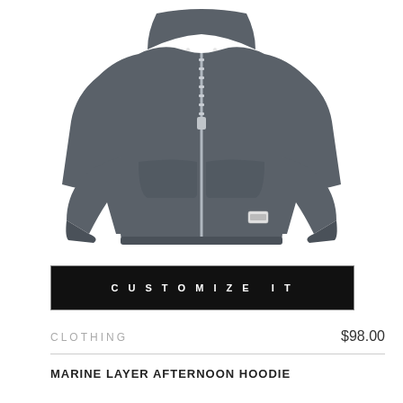[Figure (photo): Gray zip-up hoodie sweatshirt with white drawstrings, front zipper, kangaroo pockets, and small brand label on lower left hem, displayed on white background]
CUSTOMIZE IT
CLOTHING
$98.00
MARINE LAYER AFTERNOON HOODIE